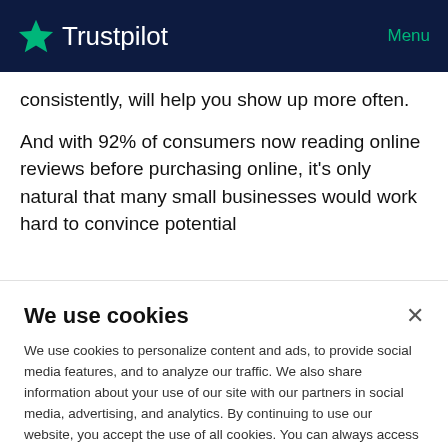Trustpilot | Menu
consistently, will help you show up more often.
And with 92% of consumers now reading online reviews before purchasing online, it's only natural that many small businesses would work hard to convince potential
We use cookies
We use cookies to personalize content and ads, to provide social media features, and to analyze our traffic. We also share information about your use of our site with our partners in social media, advertising, and analytics. By continuing to use our website, you accept the use of all cookies. You can always access and change your cookie preferences in the footer of this website.
Cookie preferences | Got it